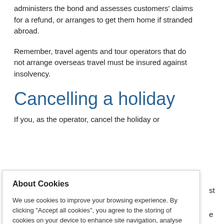administers the bond and assesses customers' claims for a refund, or arranges to get them home if stranded abroad.
Remember, travel agents and tour operators that do not arrange overseas travel must be insured against insolvency.
Cancelling a holiday
If you, as the operator, cancel the holiday or
[Figure (screenshot): Cookie consent overlay popup with title 'About Cookies' and text about cookie usage policy, with a link to Cookie Policy.]